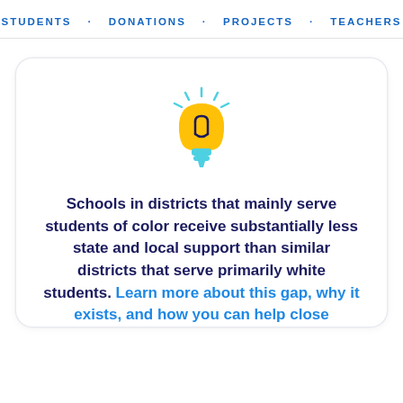STUDENTS · DONATIONS · PROJECTS · TEACHERS
[Figure (illustration): Light bulb icon with yellow bulb body, dark navy filament detail, cyan/teal base, and cyan ray lines radiating from the top]
Schools in districts that mainly serve students of color receive substantially less state and local support than similar districts that serve primarily white students. Learn more about this gap, why it exists, and how you can help close